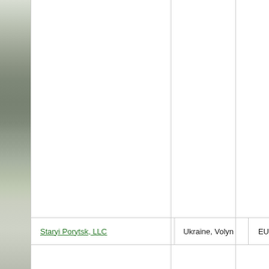[Figure (photo): Partial photo of trees/landscape visible as a vertical strip on the left side of the page]
|  | Name | Location | Region |
| --- | --- | --- | --- |
|  | Staryi Porytsk, LLC | Ukraine, Volyn | EU |